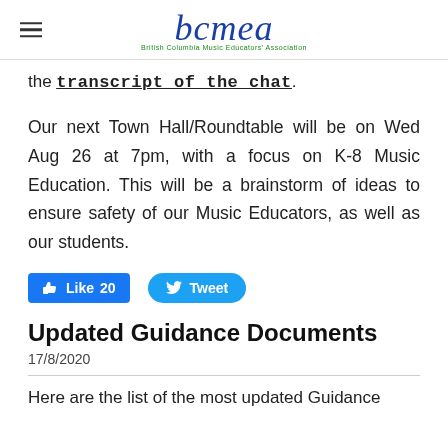bcmea — British Columbia Music Educators' Association
the transcript of the chat.
Our next Town Hall/Roundtable will be on Wed Aug 26 at 7pm, with a focus on K-8 Music Education. This will be a brainstorm of ideas to ensure safety of our Music Educators, as well as our students.
[Figure (screenshot): Facebook Like button showing 20 likes and Twitter Tweet button]
Updated Guidance Documents
17/8/2020
Here are the list of the most updated Guidance